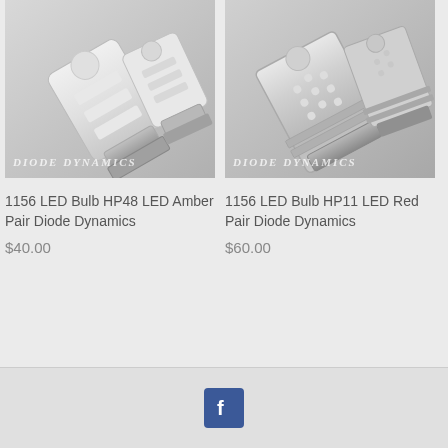[Figure (photo): 1156 LED Bulb HP48 LED Amber Pair Diode Dynamics product photo showing two white cylindrical LED bulbs with Diode Dynamics watermark]
1156 LED Bulb HP48 LED Amber Pair Diode Dynamics
$40.00
[Figure (photo): 1156 LED Bulb HP11 LED Red Pair Diode Dynamics product photo showing two silver/chrome cylindrical LED bulbs with Diode Dynamics watermark]
1156 LED Bulb HP11 LED Red Pair Diode Dynamics
$60.00
[Figure (logo): Facebook logo icon — dark blue square with white 'f' letter]